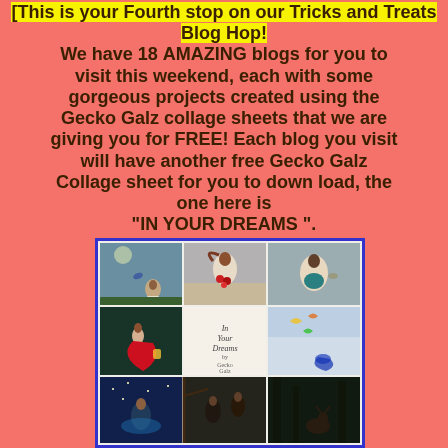[This is your Fourth stop on our Tricks and Treats Blog Hop! We have 18 AMAZING blogs for you to visit this weekend, each with some gorgeous projects created using the Gecko Galz collage sheets that we are giving you for FREE! Each blog you visit will have another free Gecko Galz Collage sheet for you to down load, the one here is "IN YOUR DREAMS ".
[Figure (illustration): A collage sheet titled 'In Your Dreams by Gecko Galz' showing 6+ photo-illustration panels of women in dreamy/fantasy settings with birds, flowers, butterflies, and moonlit scenes arranged in a grid.]